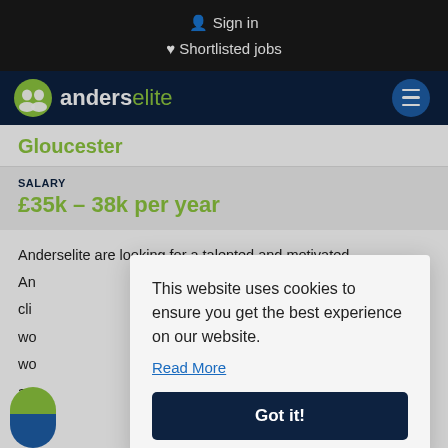Sign in
Shortlisted jobs
[Figure (logo): Anderselite logo: green circle icon with two person silhouettes, text 'anderselite' in white/green on dark navy background]
Gloucester
SALARY
£35k – 38k per year
Anderselite are looking for a talented and motivated An... cli... wo... wo... a v...
This website uses cookies to ensure you get the best experience on our website.
Read More
Got it!